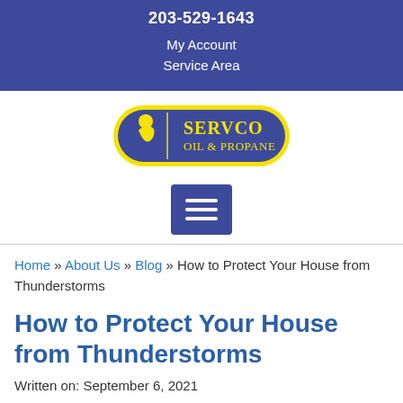203-529-1643
My Account
Service Area
[Figure (logo): Servco Oil & Propane logo: yellow-outlined oval with blue background, yellow figure icon on left, and 'Servco Oil & Propane' text in blue serif font on right]
[Figure (other): Hamburger menu button icon: blue square with three white horizontal lines]
Home » About Us » Blog » How to Protect Your House from Thunderstorms
How to Protect Your House from Thunderstorms
Written on: September 6, 2021